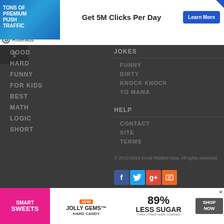[Figure (screenshot): RollerAds banner advertisement: Get 5M Clicks Per Day with Learn More button]
GOOD
HARD
FUNNY
FOR KIDS
BEST
MATH
LOGIC
SHORT
JOKES
FUNNY
DIRTY
KNOCK KNOCK
YO MAMA
HELP
CONTACT
SITE
TERMS
© 2013-2014 Good Riddles Now. All rights reserved.
[Figure (screenshot): Smart Sweets Jolly Gems Hard Candy advertisement: 89% Less Sugar]